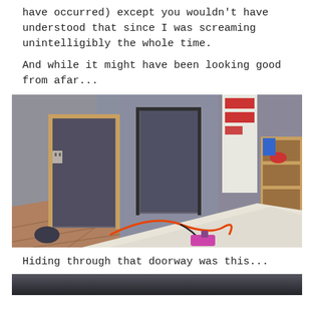have occurred) except you wouldn't have understood that since I was screaming unintelligibly the whole time.
And while it might have been looking good from afar...
[Figure (photo): Interior room under renovation/construction showing tiled floor in herringbone pattern, grey walls, two doorways, construction materials, tools including a drill, orange extension cord, and drywall sheets on the floor. Shelving visible on the right side with supplies.]
Hiding through that doorway was this...
[Figure (photo): Partial view of another photo, mostly dark/shadowed, cut off at bottom of page.]